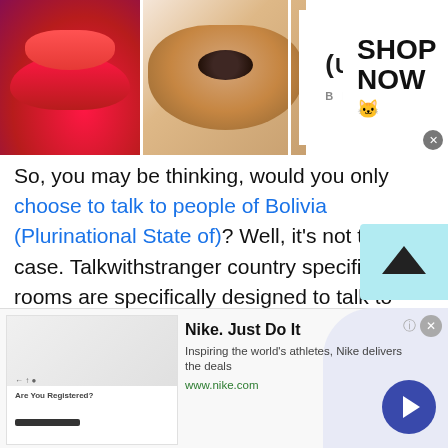[Figure (photo): ULTA Beauty advertisement banner with makeup images (lips, brush, eye), ULTA logo in center, and SHOP NOW text on right]
So, you may be thinking, would you only choose to talk to people of Bolivia (Plurinational State of)? Well, it's not the case. Talkwithstranger country specific chat rooms are specifically designed to talk to your favorite country people. So, whether you live abroad or in an Asian country, you have a lot of choices of country-specific chat rooms that you can avail for free. Yes, talking to strangers in Bolivia (Plurinational State of) via Talkwithstranger app is completely free. You can talk to strangers in Bolivia (Plurinational State of), Germany, Canada, India
[Figure (screenshot): Nike Just Do It advertisement. Text: Nike. Just Do It. Inspiring the world's athletes, Nike delivers the deals. www.nike.com]